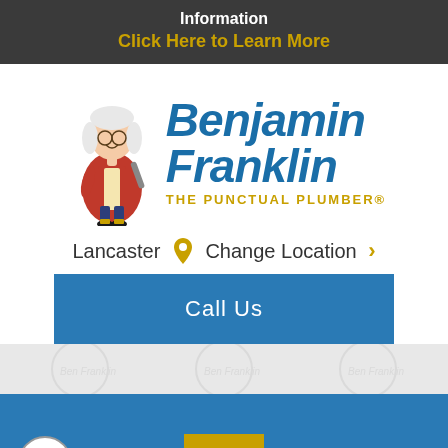Information
Click Here to Learn More
[Figure (logo): Benjamin Franklin The Punctual Plumber logo with cartoon mascot dressed in colonial attire holding a wrench]
Lancaster  Change Location >
Call Us
... Text Us Now